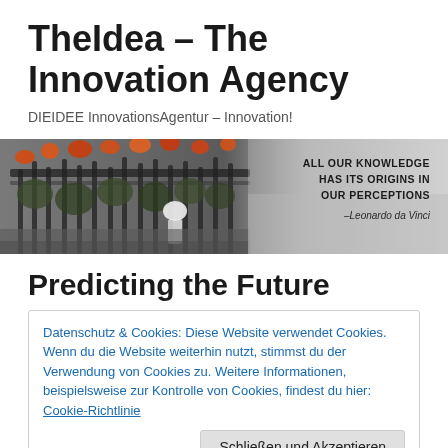TheIdea – The Innovation Agency
DIEIDEE InnovationsAgentur – Innovation!
[Figure (photo): Black and white photo of an ornate iron gate with orange/red flowers and plants behind it. A figure in white is visible near the center. On the right side overlaid text reads: ALL OUR KNOWLEDGE HAS ITS ORIGINS IN OUR PERCEPTIONS –Leonardo da Vinci]
Predicting the Future
Datenschutz & Cookies: Diese Website verwendet Cookies. Wenn du die Website weiterhin nutzt, stimmst du der Verwendung von Cookies zu. Weitere Informationen, beispielsweise zur Kontrolle von Cookies, findest du hier: Cookie-Richtlinie
Schließen und Akzeptieren
Killing the Driver